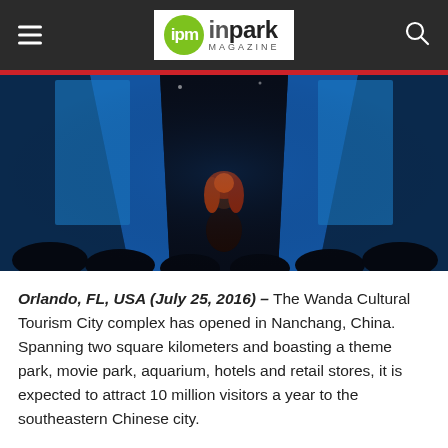ipm inpark MAGAZINE
[Figure (photo): Interior of a dark immersive theater/ride experience with blue glowing screens and audience members seated in a circular arrangement, viewed from the back with a red-haired performer/figure in the center foreground.]
Orlando, FL, USA (July 25, 2016) – The Wanda Cultural Tourism City complex has opened in Nanchang, China. Spanning two square kilometers and boasting a theme park, movie park, aquarium, hotels and retail stores, it is expected to attract 10 million visitors a year to the southeastern Chinese city.